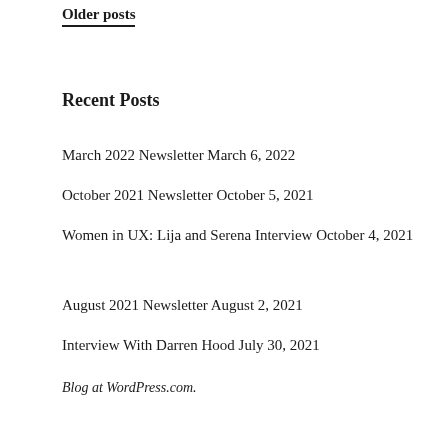Older posts
Recent Posts
March 2022 Newsletter March 6, 2022
October 2021 Newsletter October 5, 2021
Women in UX: Lija and Serena Interview October 4, 2021
August 2021 Newsletter August 2, 2021
Interview With Darren Hood July 30, 2021
Blog at WordPress.com.